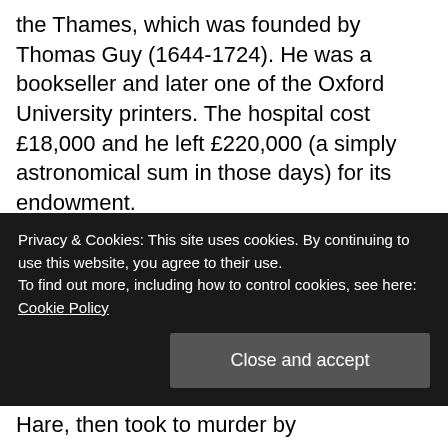the Thames, which was founded by Thomas Guy (1644-1724). He was a bookseller and later one of the Oxford University printers. The hospital cost £18,000 and he left £220,000 (a simply astronomical sum in those days) for its endowment.
[Page 350, line 26] body-snatcher (sometimes called a resurrectionist or resurrection-man). One who in former days disinterred dead bodies to sell them for the purpose of anatomical dissection. In the early 19th century, previous to the
Privacy & Cookies: This site uses cookies. By continuing to use this website, you agree to their use.
To find out more, including how to control cookies, see here:
Cookie Policy
Close and accept
Hare, then took to murder by